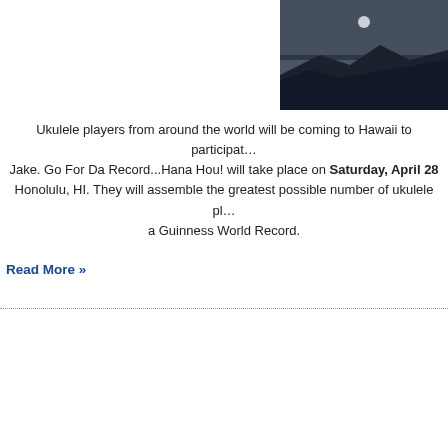[Figure (photo): Landscape photo showing dark mountain silhouette against a dusky sky with a faint light/moon near the top]
Ukulele players from around the world will be coming to Hawaii to participate... Jake. Go For Da Record...Hana Hou! will take place on Saturday, April 28 Honolulu, HI. They will assemble the greatest possible number of ukulele pl... a Guinness World Record.
Read More »
Hawaii Food & Wine Festival to Showcase Locally-G
By WebTV Hawaii on 2012/04/09 8:51
This announcement is from Hawaii Tourism Authority (HTA)
It's a foodie paradise! In its second year, the HTA-supported Hawaii Food & of the world's most renowned master chefs, culinary personalities and wine and flavorful dishes will be prepared using locally-sourced Hawaii produce, s ingredients, offering festival-goers a taste of the Hawaiian Islands.